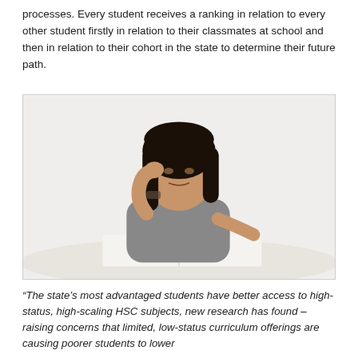processes. Every student receives a ranking in relation to every other student firstly in relation to their classmates at school and then in relation to their cohort in the state to determine their future path.
[Figure (photo): A young woman sitting at a desk leaning her head on her hand, looking bored or frustrated, with an open book in front of her.]
“The state’s most advantaged students have better access to high-status, high-scaling HSC subjects, new research has found – raising concerns that limited, low-status curriculum offerings are causing poorer students to lower